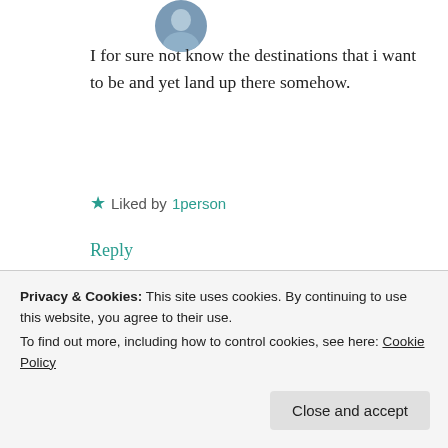[Figure (photo): Circular avatar photo of a person, partially cropped at top]
I for sure not know the destinations that i want to be and yet land up there somehow.
★ Liked by 1person
Reply
[Figure (photo): Circular avatar photo of a couple, woman on man's shoulders]
Gauri (cheers2all)
AUGUST 28, 2019 AT 9:20 PM
Privacy & Cookies: This site uses cookies. By continuing to use this website, you agree to their use.
To find out more, including how to control cookies, see here: Cookie Policy
Close and accept